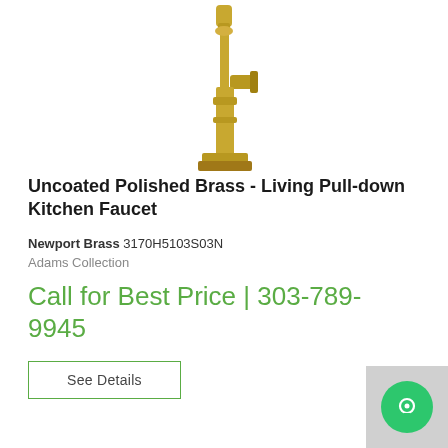[Figure (photo): Product photo of an uncoated polished brass kitchen pull-down faucet with a modern square base and side lever handle, shown on white background]
Uncoated Polished Brass - Living Pull-down Kitchen Faucet
Newport Brass 3170H5103S03N
Adams Collection
Call for Best Price | 303-789-9945
See Details